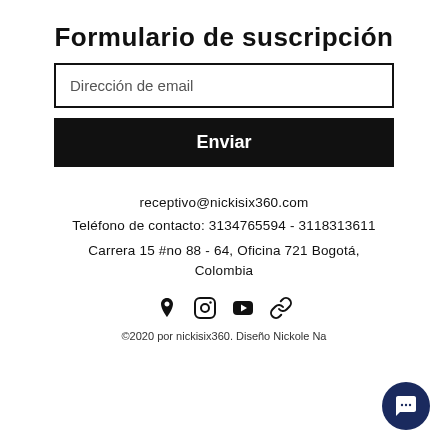Formulario de suscripción
Dirección de email
Enviar
receptivo@nickisix360.com
Teléfono de contacto: 3134765594 - 3118313611
Carrera 15 #no 88 - 64, Oficina 721 Bogotá, Colombia
[Figure (other): Social media icons: location pin, Instagram, YouTube, link]
©2020 por nickisix360. Diseño Nickole Na...